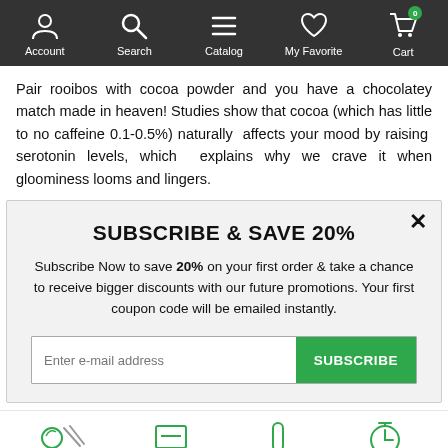Account | Search | Catalog | My Favorite | Cart
Pair rooibos with cocoa powder and you have a chocolatey match made in heaven! Studies show that cocoa (which has little to no caffeine 0.1-0.5%) naturally affects your mood by raising serotonin levels, which explains why we crave it when gloominess looms and lingers.
SUBSCRIBE & SAVE 20%
Subscribe Now to save 20% on your first order & take a chance to receive bigger discounts with our future promotions. Your first coupon code will be emailed instantly.
Enter e-mail address | SUBSCRIBE
[Figure (illustration): Bottom row of small green icons partially visible at bottom of page]